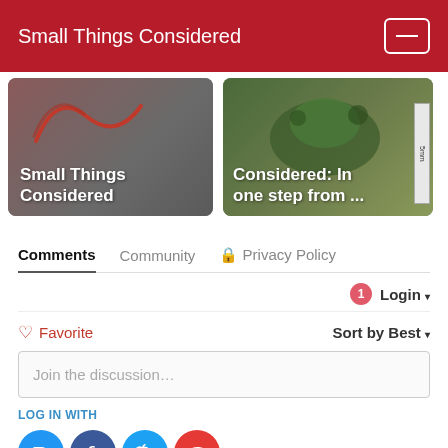Small Things Considered
[Figure (screenshot): Two article thumbnail cards side by side. Left card shows 'Small Things Considered' title on gray background with red worm. Right card shows 'Considered: In one step from ...' with a green insect photo and a ruler scale bar.]
Comments  Community  🔒 Privacy Policy
Login ▾
♡ Favorite  Sort by Best ▾
Join the discussion…
LOG IN WITH
[Figure (logo): Four social login icons: Disqus (D, blue), Facebook (f, dark blue), Twitter (bird, light blue), Google (G, red)]
OR SIGN UP WITH DISQUS ?